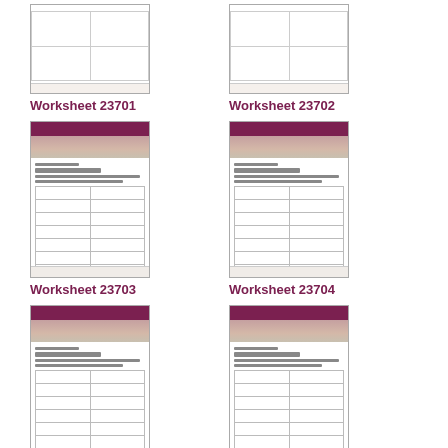[Figure (screenshot): Thumbnail of Worksheet 23701]
Worksheet 23701
[Figure (screenshot): Thumbnail of Worksheet 23702]
Worksheet 23702
[Figure (screenshot): Thumbnail of Worksheet 23703]
Worksheet 23703
[Figure (screenshot): Thumbnail of Worksheet 23704]
Worksheet 23704
[Figure (screenshot): Thumbnail of Worksheet 23705]
Worksheet 23705
[Figure (screenshot): Thumbnail of Worksheet 23706]
Worksheet 23706
[Figure (screenshot): Partial thumbnail of Worksheet 23707]
[Figure (screenshot): Partial thumbnail of Worksheet 23708]